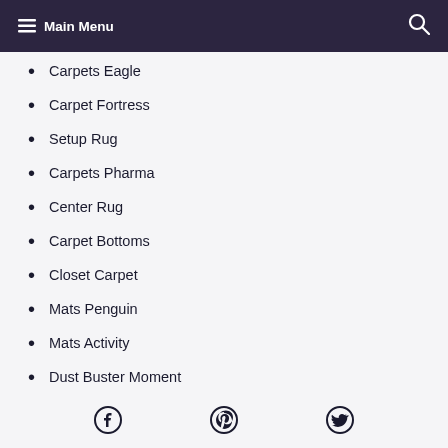Main Menu
Carpets Eagle
Carpet Fortress
Setup Rug
Carpets Pharma
Center Rug
Carpet Bottoms
Closet Carpet
Mats Penguin
Mats Activity
Dust Buster Moment
Mats Abuzz
Facebook Pinterest Twitter